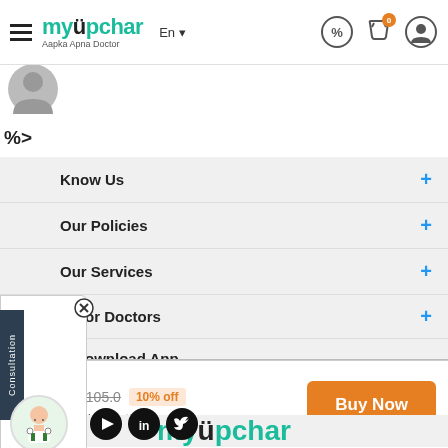myupchar — Aapka Apna Doctor | En | Header navigation
[Figure (screenshot): Partial profile image circle at top left]
%>
Know Us +
Our Policies +
Our Services +
or Doctors +
ownload App
onnect
Consultation
[Figure (illustration): Doctor avatar illustration]
[Figure (logo): myupchar logo social media icons - Facebook, YouTube, LinkedIn, Twitter]
myupchar
₹94.5  ₹105.0  10% off  30 ml Dilution in 1 Bottle  Buy Now